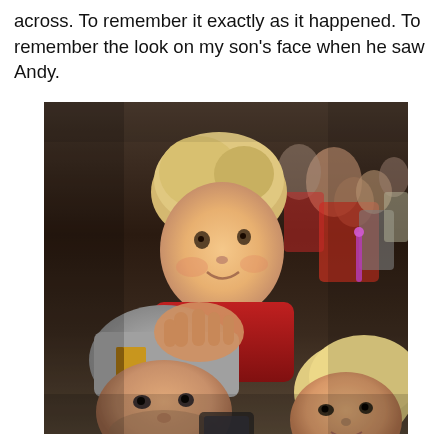across. To remember it exactly as it happened. To remember the look on my son's face when he saw Andy.
[Figure (photo): A selfie-style family photo taken at what appears to be a sports event or arena. A young blonde child in a red jacket is sitting on the shoulders of a man wearing a grey beanie hat with a yellow letter on it. The man is taking the selfie. A blonde woman is visible in the lower right. In the background are many spectators, including a child holding a glowing pink light stick.]